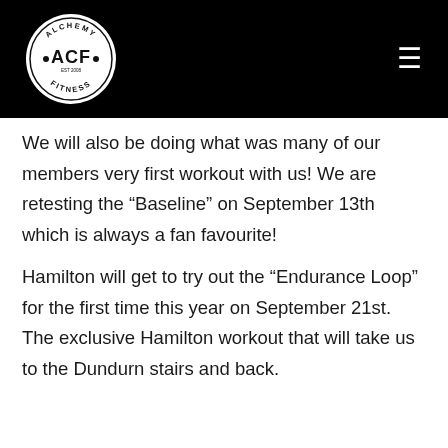[Figure (logo): Alchemy ACF Fitness circular logo in white on black header bar]
We will also be doing what was many of our members very first workout with us! We are retesting the “Baseline” on September 13th which is always a fan favourite!
Hamilton will get to try out the “Endurance Loop” for the first time this year on September 21st. The exclusive Hamilton workout that will take us to the Dundurn stairs and back.